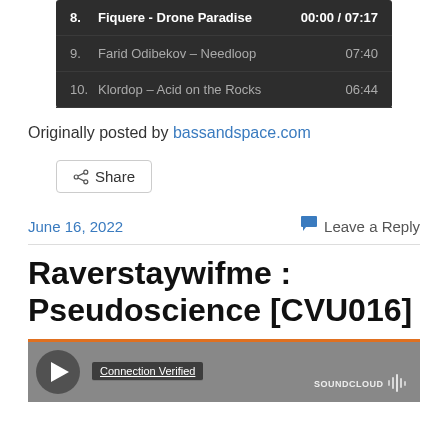[Figure (screenshot): Dark-themed music player track list showing tracks 8-10: '8. Fiquere - Drone Paradise 00:00 / 07:17', '9. Farid Odibekov - Needloop 07:40', '10. Klordop - Acid on the Rocks 06:44']
Originally posted by bassandspace.com
Share
June 16, 2022
Leave a Reply
Raverstaywifme : Pseudoscience [CVU016]
[Figure (screenshot): SoundCloud player preview with orange top bar, gray background, play button, 'Connection Verified' label, and SoundCloud logo]